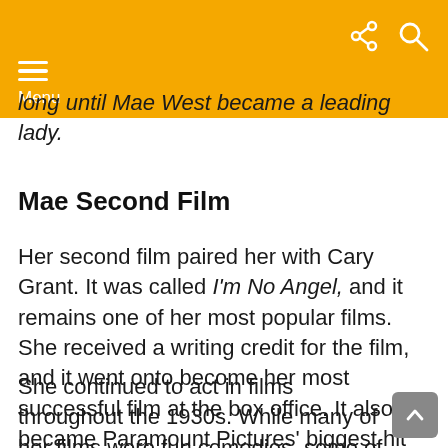Menu
long until Mae West became a leading lady.
Mae Second Film
Her second film paired her with Cary Grant. It was called I'm No Angel, and it remains one of her most popular films. She received a writing credit for the film, and it went onto become her most successful film at the box office. It also became Paramount Pictures' biggest hit of the year.
She continued to act in films throughout the 1930s. While many of her films were fun comedies, some of them also hit a nerve with America's conservative